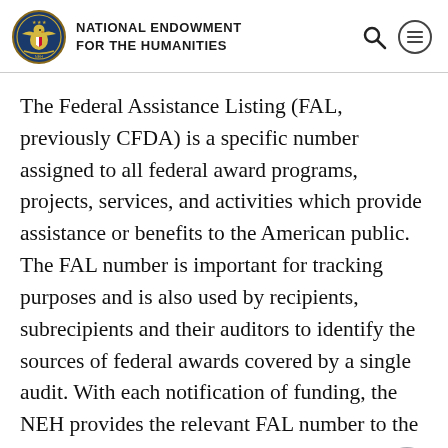NATIONAL ENDOWMENT FOR THE HUMANITIES
The Federal Assistance Listing (FAL, previously CFDA) is a specific number assigned to all federal award programs, projects, services, and activities which provide assistance or benefits to the American public. The FAL number is important for tracking purposes and is also used by recipients, subrecipients and their auditors to identify the sources of federal awards covered by a single audit. With each notification of funding, the NEH provides the relevant FAL number to the recipient. The number appears in the "Federal